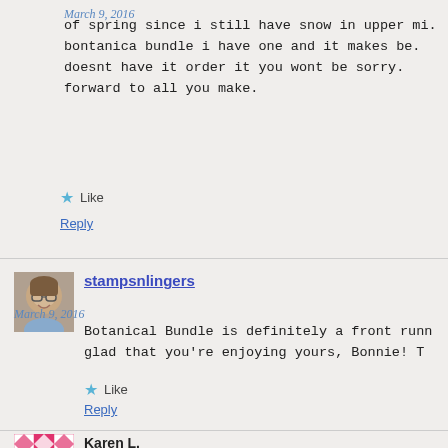March 9, 2016
of spring since i still have snow in upper mi. bontanica bundle i have one and it makes be. doesnt have it order it you wont be sorry. forward to all you make.
Like
Reply
[Figure (photo): Profile photo of stampsnlingers user, a woman with glasses smiling]
stampsnlingers
March 9, 2016
Botanical Bundle is definitely a front runn glad that you're enjoying yours, Bonnie! T
Like
Reply
[Figure (illustration): Geometric pink and white quilt-pattern avatar for Karen L.]
Karen L.
Have you maybe thought that maybe your c